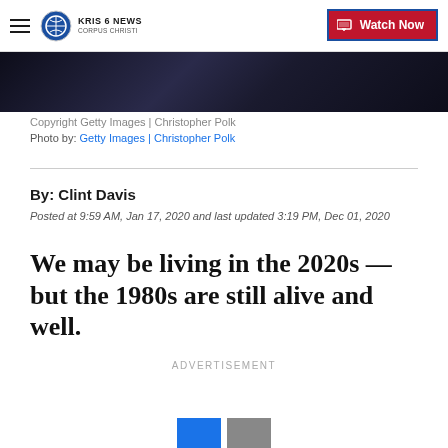KRIS 6 NEWS CORPUS CHRISTI | Watch Now
[Figure (photo): Dark background image strip, partially visible at top of article]
Copyright Getty Images | Christopher Polk
Photo by: Getty Images | Christopher Polk
By: Clint Davis
Posted at 9:59 AM, Jan 17, 2020 and last updated 3:19 PM, Dec 01, 2020
We may be living in the 2020s — but the 1980s are still alive and well.
ADVERTISEMENT